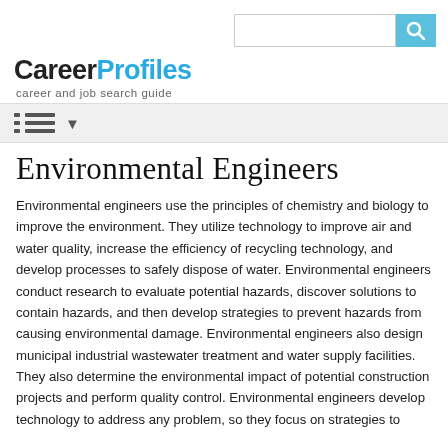[Search bar and search button]
[Figure (logo): CareerProfiles logo with tagline 'career and job search guide']
Navigation menu icon with dropdown arrow
Environmental Engineers
Environmental engineers use the principles of chemistry and biology to improve the environment. They utilize technology to improve air and water quality, increase the efficiency of recycling technology, and develop processes to safely dispose of water. Environmental engineers conduct research to evaluate potential hazards, discover solutions to contain hazards, and then develop strategies to prevent hazards from causing environmental damage. Environmental engineers also design municipal industrial wastewater treatment and water supply facilities. They also determine the environmental impact of potential construction projects and perform quality control. Environmental engineers develop technology to address any problem, so they focus on strategies to